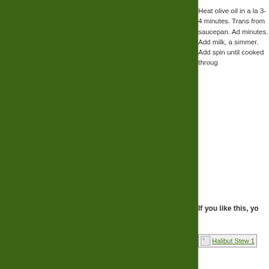[Figure (photo): Large dark green panel filling the left portion of the page]
Heat olive oil in a la 3-4 minutes. Trans from saucepan. Ad minutes. Add milk, a simmer. Add spin until cooked throug
If you like this, yo
[Figure (photo): Broken image placeholder for Halibut Stew 1]
[Figure (photo): Broken image placeholder for Broccoli Rabe]